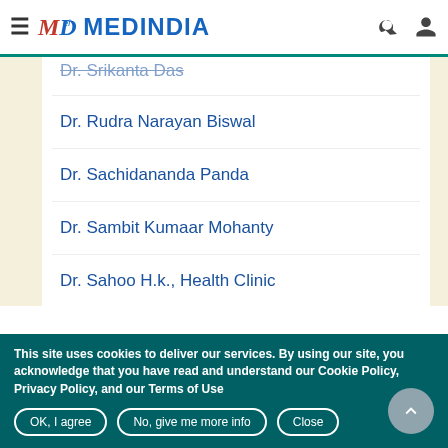MEDINDIA
Dr. Srikanta Das
Dr. Rudra Narayan Biswal
Dr. Sachidananda Panda
Dr. Sambit Kumaar Mohanty
Dr. Sahoo H.k., Health Clinic
This site uses cookies to deliver our services. By using our site, you acknowledge that you have read and understand our Cookie Policy, Privacy Policy, and our Terms of Use